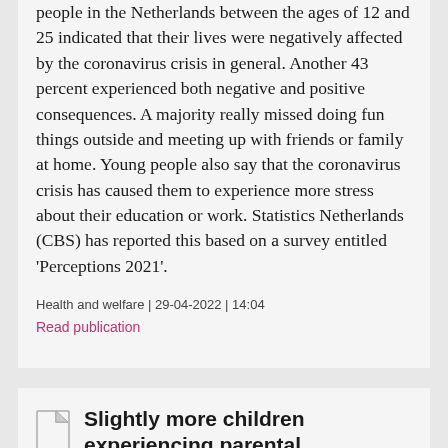people in the Netherlands between the ages of 12 and 25 indicated that their lives were negatively affected by the coronavirus crisis in general. Another 43 percent experienced both negative and positive consequences. A majority really missed doing fun things outside and meeting up with friends or family at home. Young people also say that the coronavirus crisis has caused them to experience more stress about their education or work. Statistics Netherlands (CBS) has reported this based on a survey entitled 'Perceptions 2021'.
Health and welfare | 29-04-2022 | 14:04
Read publication
Slightly more children experiencing parental separation
In 2019, the share of minor children (under 18) experiencing their parents' divorce or separation increased.